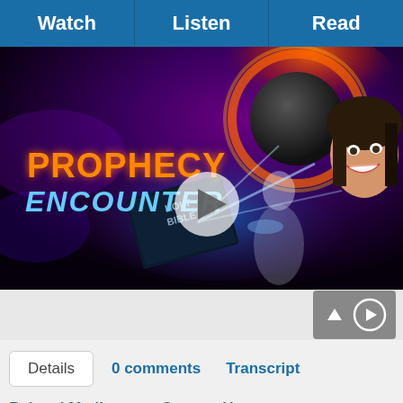Watch | Listen | Read
[Figure (screenshot): Video thumbnail for 'Prophecy Encounter' showing text 'PROPHECY ENCOUNTER' in orange/blue letters with images of Jesus, a woman smiling, planets, and a Holy Bible with a play button overlay in the center.]
Details  0 comments  Transcript
Related Media  Contact Us